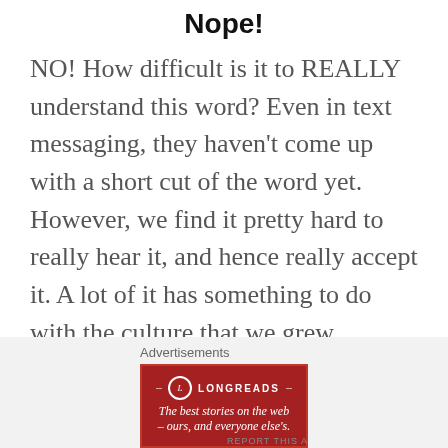Nope!
NO! How difficult is it to REALLY understand this word? Even in text messaging, they haven't come up with a short cut of the word yet. However, we find it pretty hard to really hear it, and hence really accept it. A lot of it has something to do with the culture that we grew...
[Figure (other): Longreads advertisement banner: red background with Longreads logo and tagline 'The best stories on the web – ours, and everyone else's.']